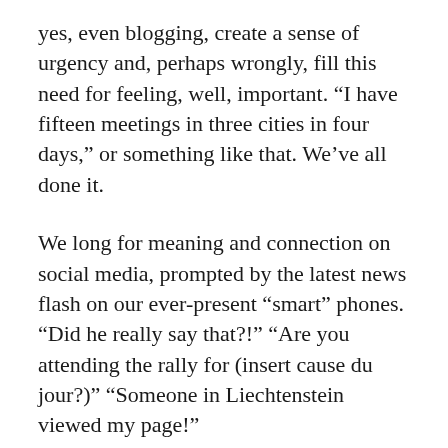yes, even blogging, create a sense of urgency and, perhaps wrongly, fill this need for feeling, well, important. “I have fifteen meetings in three cities in four days,” or something like that. We’ve all done it.
We long for meaning and connection on social media, prompted by the latest news flash on our ever-present “smart” phones. “Did he really say that?!” “Are you attending the rally for (insert cause du jour?)” “Someone in Liechtenstein viewed my page!”
A priest friend of mine once described being young and going off to Africa to do work because he believed that’s how you saved the world – by doing